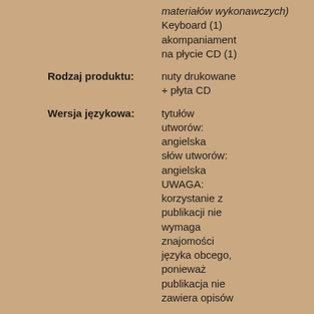|  | materiałów wykonawczych) Keyboard (1) akompaniament na płycie CD (1) |
| Rodzaj produktu: | nuty drukowane + płyta CD |
| Wersja językowa: | tytułów utworów: angielska słów utworów: angielska UWAGA: korzystanie z publikacji nie wymaga znajomości języka obcego, ponieważ publikacja nie zawiera opisów |
| Stopień trudności: | 1 w skali od 0 do 10 |
| Dostępność | w magazynie, wysyłka natychmiastowa |
| Zawartość: | Zajrzyj do |